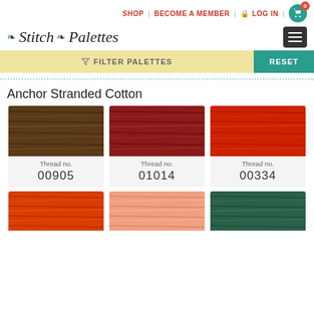SHOP | BECOME A MEMBER | LOG IN | 0
Stitch Palettes
FILTER PALETTES
RESET
Anchor Stranded Cotton
[Figure (photo): Brown stranded cotton thread skein, Thread no. 00905]
[Figure (photo): Dark red stranded cotton thread skein, Thread no. 01014]
[Figure (photo): Bright red stranded cotton thread skein, Thread no. 00334]
[Figure (photo): Orange-red stranded cotton thread skein (partial)]
[Figure (photo): Salmon/peach stranded cotton thread skein (partial)]
[Figure (photo): Dark teal stranded cotton thread skein (partial)]